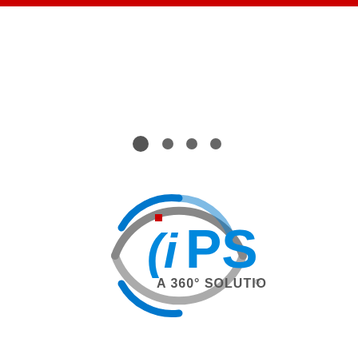[Figure (logo): IPS logo - A 360 degree solution with circular arc design in blue and gray, with red square accent on the letter i]
[Figure (other): Four dots in a row - one filled dark gray circle followed by three smaller dark gray dots]